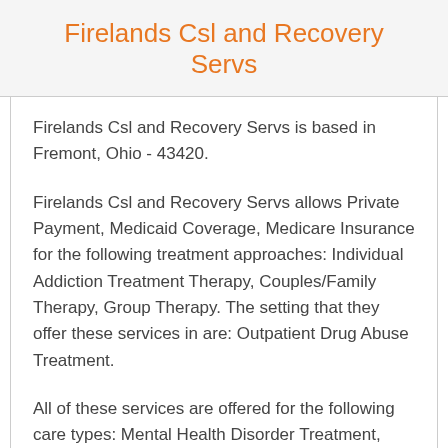Firelands Csl and Recovery Servs
Firelands Csl and Recovery Servs is based in Fremont, Ohio - 43420.
Firelands Csl and Recovery Servs allows Private Payment, Medicaid Coverage, Medicare Insurance for the following treatment approaches: Individual Addiction Treatment Therapy, Couples/Family Therapy, Group Therapy. The setting that they offer these services in are: Outpatient Drug Abuse Treatment.
All of these services are offered for the following care types: Mental Health Disorder Treatment, Firelands Csl and Recovery Servs...